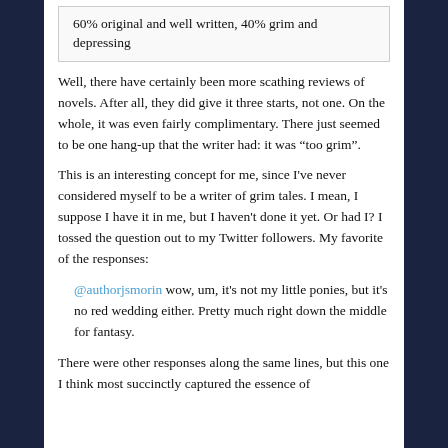60% original and well written, 40% grim and depressing
Well, there have certainly been more scathing reviews of novels. After all, they did give it three starts, not one. On the whole, it was even fairly complimentary. There just seemed to be one hang-up that the writer had: it was “too grim”.
This is an interesting concept for me, since I've never considered myself to be a writer of grim tales. I mean, I suppose I have it in me, but I haven't done it yet. Or had I? I tossed the question out to my Twitter followers. My favorite of the responses:
@authorjsmorin wow, um, it's not my little ponies, but it's no red wedding either. Pretty much right down the middle for fantasy.
There were other responses along the same lines, but this one I think most succinctly captured the essence of